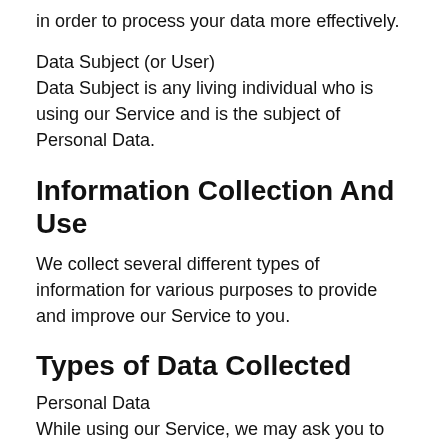in order to process your data more effectively.
Data Subject (or User)
Data Subject is any living individual who is using our Service and is the subject of Personal Data.
Information Collection And Use
We collect several different types of information for various purposes to provide and improve our Service to you.
Types of Data Collected
Personal Data
While using our Service, we may ask you to provide us with certain personally identifiable information that can be used to contact or identify you (“Personal Data”).